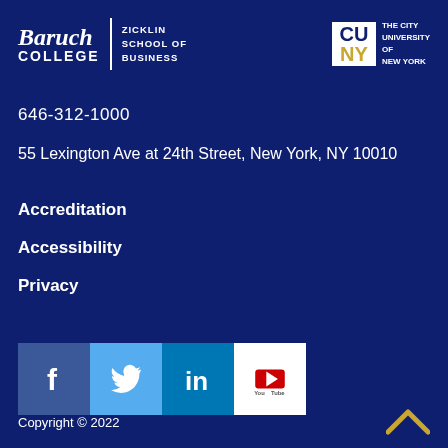[Figure (logo): Baruch College Zicklin School of Business logo and CUNY The City University of New York logo on dark blue background]
646-312-1000
55 Lexington Ave at 24th Street, New York, NY 10010
Accreditation
Accessibility
Privacy
[Figure (infographic): Social media icons: Facebook (blue), Twitter (light blue), LinkedIn (dark blue), YouTube (white with red play button)]
Copyright © 2022